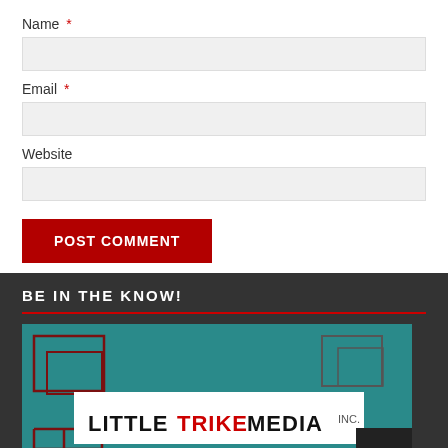Name *
Email *
Website
POST COMMENT
BE IN THE KNOW!
[Figure (logo): Little Trike Media Inc. Newsletters logo on teal background with geometric decorative elements]